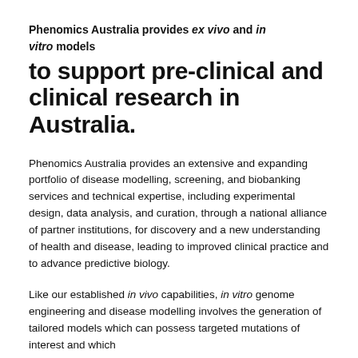Phenomics Australia provides ex vivo and in vitro models to support pre-clinical and clinical research in Australia.
Phenomics Australia provides an extensive and expanding portfolio of disease modelling, screening, and biobanking services and technical expertise, including experimental design, data analysis, and curation, through a national alliance of partner institutions, for discovery and a new understanding of health and disease, leading to improved clinical practice and to advance predictive biology.
Like our established in vivo capabilities, in vitro genome engineering and disease modelling involves the generation of tailored models which can possess targeted mutations of interest and which